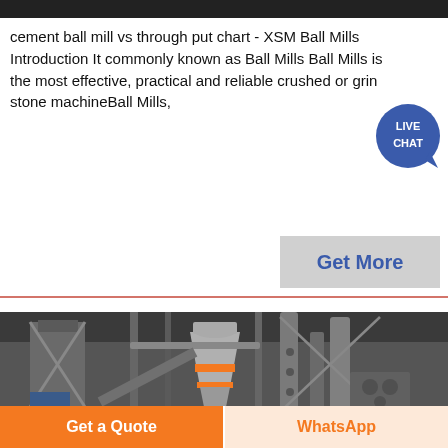cement ball mill vs through put chart - XSM Ball Mills Introduction It commonly known as Ball Mills Ball Mills is the most effective, practical and reliable crushed or grind stone machineBall Mills,
[Figure (other): Live chat bubble icon with speech bubble shape in dark blue circle]
[Figure (other): Get More button in light gray rectangle with blue bold text]
[Figure (photo): Industrial machinery photo showing large cement mill equipment with metal silos, pipes, conveyor systems and structural steel framework in a factory setting]
[Figure (other): Get a Quote orange button and WhatsApp button in bottom bar]